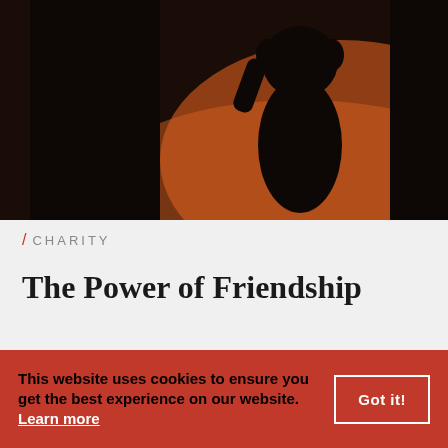[Figure (photo): Silhouette of an adult holding hands with a child against a warm orange/sunset background. The figures are dark silhouettes, with the child being lifted or swinging.]
/ CHARITY
The Power of Friendship
This website uses cookies to ensure you get the best experience on our website. Learn more